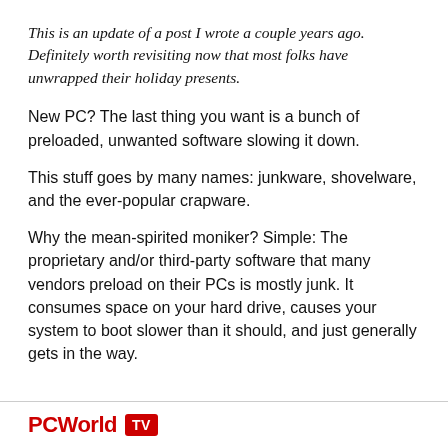This is an update of a post I wrote a couple years ago. Definitely worth revisiting now that most folks have unwrapped their holiday presents.
New PC? The last thing you want is a bunch of preloaded, unwanted software slowing it down.
This stuff goes by many names: junkware, shovelware, and the ever-popular crapware.
Why the mean-spirited moniker? Simple: The proprietary and/or third-party software that many vendors preload on their PCs is mostly junk. It consumes space on your hard drive, causes your system to boot slower than it should, and just generally gets in the way.
PCWorld TV